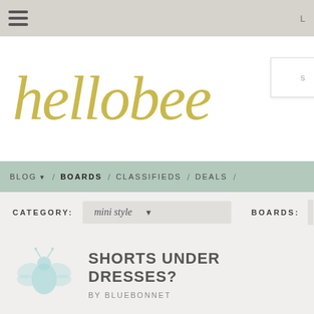hellobee website navigation
[Figure (logo): hellobee logo in golden/yellow italic handwritten-style font]
BLOG / BOARDS / CLASSIFIEDS / DEALS /
CATEGORY: mini style   BOARDS: m
SHORTS UNDER DRESSES?
BY BLUEBONNET
DDs wear dresses to school sometimes and they like to wear shorts only have a couple of pair (hand me downs) and I haven't been able